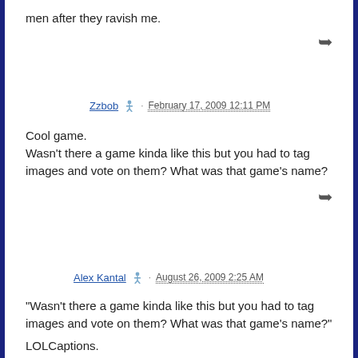men after they ravish me.
Zzbob · February 17, 2009 12:11 PM
Cool game.
Wasn't there a game kinda like this but you had to tag images and vote on them? What was that game's name?
Alex Kantal · August 26, 2009 2:25 AM
"Wasn't there a game kinda like this but you had to tag images and vote on them? What was that game's name?"

LOLCaptions.